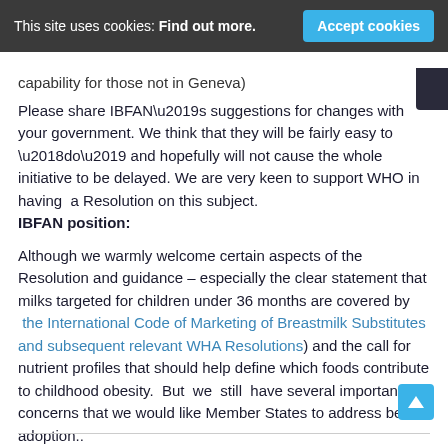This site uses cookies: Find out more.  [Accept cookies]
capability for those not in Geneva)
Please share IBFAN’s suggestions for changes with your government. We think that they will be fairly easy to ‘do’ and hopefully will not cause the whole initiative to be delayed. We are very keen to support WHO in having  a Resolution on this subject.
IBFAN position:
Although we warmly welcome certain aspects of the Resolution and guidance – especially the clear statement that milks targeted for children under 36 months are covered by  the International Code of Marketing of Breastmilk Substitutes and subsequent relevant WHA Resolutions) and the call for nutrient profiles that should help define which foods contribute to childhood obesity.  But  we  still  have several important concerns that we would like Member States to address before adoption..